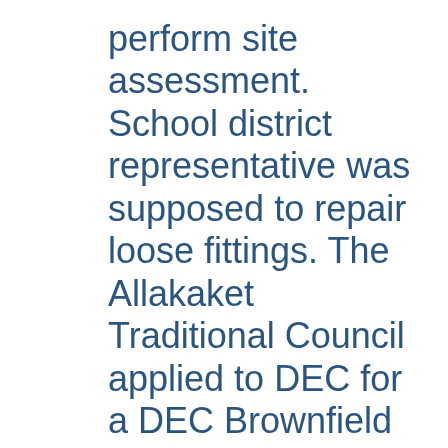perform site assessment. School district representative was supposed to repair loose fittings. The Allakaket Traditional Council applied to DEC for a DEC Brownfield Assessment (DBA) during the 2008 DBA request period. A brownfield file number was assigned to track work done under the